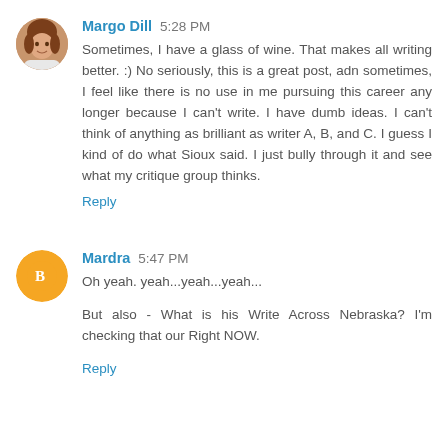Margo Dill 5:28 PM
Sometimes, I have a glass of wine. That makes all writing better. :) No seriously, this is a great post, adn sometimes, I feel like there is no use in me pursuing this career any longer because I can't write. I have dumb ideas. I can't think of anything as brilliant as writer A, B, and C. I guess I kind of do what Sioux said. I just bully through it and see what my critique group thinks.
Reply
Mardra 5:47 PM
Oh yeah. yeah...yeah...yeah...
But also - What is his Write Across Nebraska? I'm checking that our Right NOW.
Reply